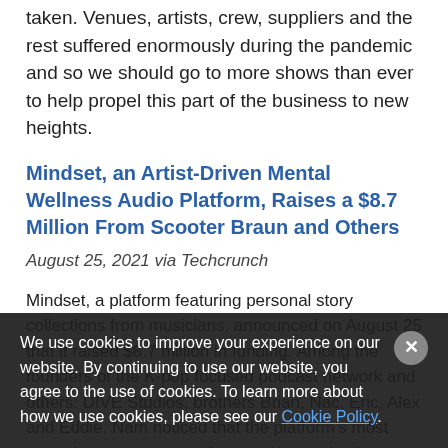taken. Venues, artists, crew, suppliers and the rest suffered enormously during the pandemic and so we should go to more shows than ever to help propel this part of the business to new heights.
Mindset, an Artist-Driven Mental Wellness Audio Platform, Raises a $8.7 Million From Scooter Braun and Others
August 25, 2021 via Techcrunch
Mindset, a platform featuring personal story collections from musicians, announced on August 25 that it raised $8.7 million in funding. Among the founders of the K-pop focused podcast network and others: DIVE Studios, brothers Brian, Nac, Eric, Alex and Eddie. Nam noticed that the platform's most engaging content came from podcast episodes.
We use cookies to improve your experience on our website. By continuing to use our website, you agree to the use of cookies. To learn more about how we use cookies, please see our Cookie Policy.